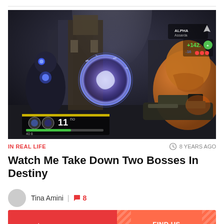[Figure (screenshot): Gameplay screenshot from Destiny showing a first-person shooter perspective with a large glowing blue energy sphere/orb in the center, dark armored enemies on the left, and a large orange/brown creature on the right. HUD elements visible including score '11' and 'ALPHA' text in the top right corner.]
IN REAL LIFE
8 YEARS AGO
Watch Me Take Down Two Bosses In Destiny
Tina Amini | 8
[Figure (logo): Kotaku advertisement banner with Kotaku logo on red background on the left and 'FIND US ON TWITCH' text on orange/red striped background on the right.]